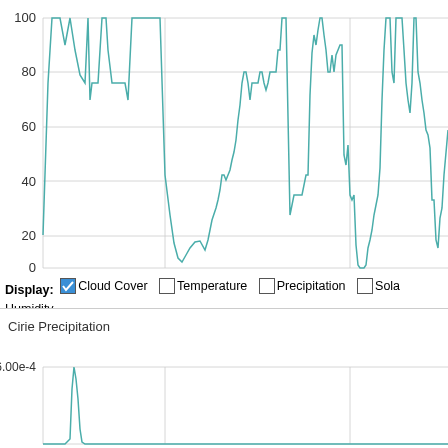[Figure (continuous-plot): Cloud cover percentage line chart over time from approximately 01 Sep to 13 Sep, y-axis 0-100, showing highly variable cloud cover fluctuating between 0 and 100%. X-axis labels: 04 Sep, 11 Sep. Y-axis labels: 0, 20, 40, 60, 80, 100.]
Display: ☑ Cloud Cover ☐ Temperature ☐ Precipitation ☐ Solar Humidity
Time in GMT, not local. Click-drag to zoom,click-click to reset,shift-
[Figure (continuous-plot): Cirie Precipitation line chart, y-axis label 6.00e-4, showing a single sharp spike near the beginning of the time range then flat near zero.]